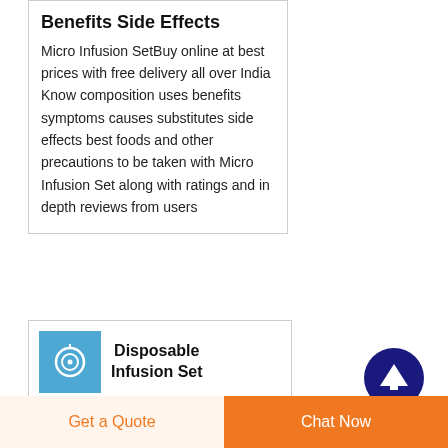Benefits Side Effects
Micro Infusion SetBuy online at best prices with free delivery all over India Know composition uses benefits symptoms causes substitutes side effects best foods and other precautions to be taken with Micro Infusion Set along with ratings and in depth reviews from users
[Figure (photo): Blue square image showing a disposable infusion set coil/loop]
Disposable Infusion Set Price 2021 Disposable
Get a Quote
Chat Now